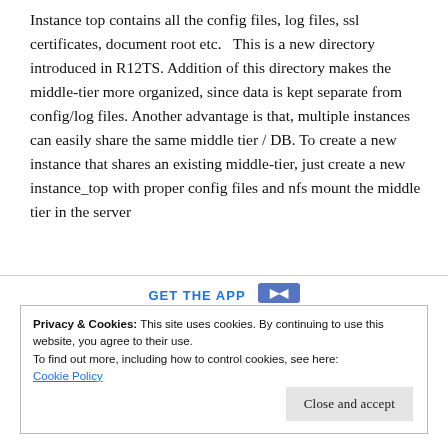Instance top contains all the config files, log files, ssl certificates, document root etc.  This is a new directory introduced in R12TS. Addition of this directory makes the middle-tier more organized, since data is kept separate from config/log files. Another advantage is that, multiple instances can easily share the same middle tier / DB. To create a new instance that shares an existing middle-tier, just create a new instance_top with proper config files and nfs mount the middle tier in the server
GET THE APP
Privacy & Cookies: This site uses cookies. By continuing to use this website, you agree to their use.
To find out more, including how to control cookies, see here:
Cookie Policy
Close and accept